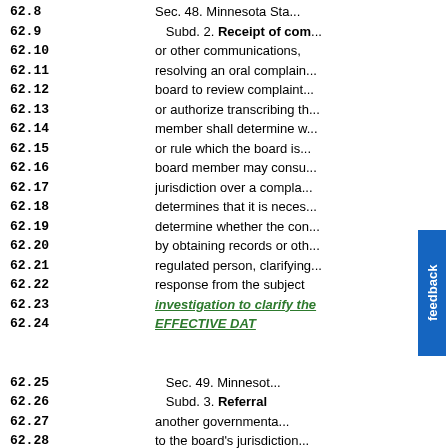62.8
62.9
62.10
62.11
62.12
62.13
62.14
62.15
62.16
62.17
62.18
62.19
62.20
62.21
62.22
62.23
62.24
62.25
62.26
62.27
62.28
62.29
Sec. 48. Minnesota Sta... Subd. 2. Receipt of com... or other communications, resolving an oral complain... board to review complaint... or authorize transcribing th... member shall determine w... or rule which the board is... board member may consu... jurisdiction over a compla... determines that it is neces... determine whether the con... by obtaining records or oth... regulated person, clarifying... response from the subject... investigation to clarify the... EFFECTIVE DAT...
Sec. 49. Minnesot... Subd. 3. Referral... another governmental... to the board's jurisdiction... governmental agency. The...